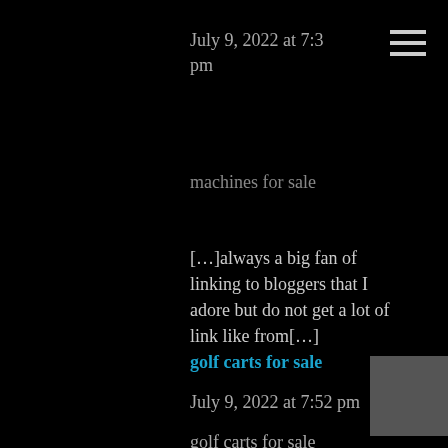July 9, 2022 at 7:3
pm
machines for sale
[…]always a big fan of linking to bloggers that I adore but do not get a lot of link like from[…]
golf carts for sale
July 9, 2022 at 7:52 pm
golf carts for sale